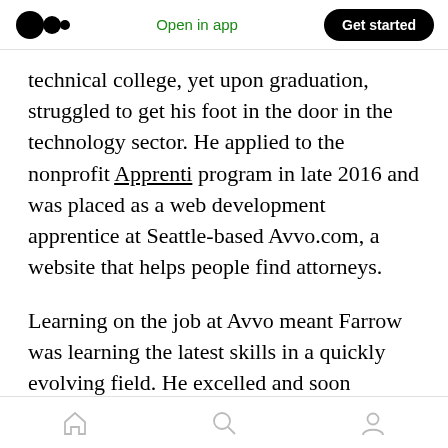Medium logo | Open in app | Get started
technical college, yet upon graduation, struggled to get his foot in the door in the technology sector. He applied to the nonprofit Apprenti program in late 2016 and was placed as a web development apprentice at Seattle-based Avvo.com, a website that helps people find attorneys.
Learning on the job at Avvo meant Farrow was learning the latest skills in a quickly evolving field. He excelled and soon transitioned to a fully qualified journey-level employee ahead of schedule. The 21-year-old is now a...
Home | Search | Profile